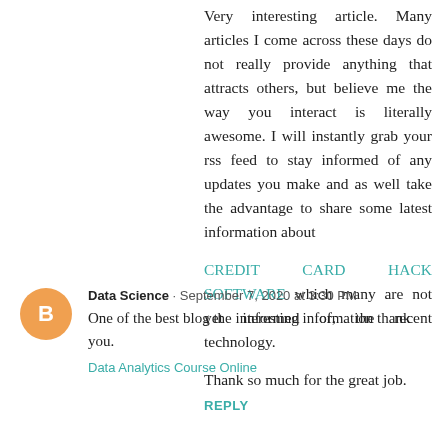Very interesting article. Many articles I come across these days do not really provide anything that attracts others, but believe me the way you interact is literally awesome. I will instantly grab your rss feed to stay informed of any updates you make and as well take the advantage to share some latest information about
CREDIT CARD HACK SOFTWARE which many are not yet informed of, the recent technology.
Thank so much for the great job.
REPLY
Data Science · September 7, 2020 at 3:30 PM
One of the best blog the interesting information thank you.
Data Analytics Course Online